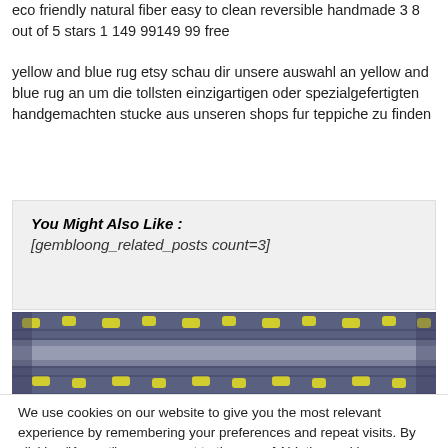eco friendly natural fiber easy to clean reversible handmade 3 8 out of 5 stars 1 149 99149 99 free
yellow and blue rug etsy schau dir unsere auswahl an yellow and blue rug an um die tollsten einzigartigen oder spezialgefertigten handgemachten stucke aus unseren shops fur teppiche zu finden
You Might Also Like : [gembloong_related_posts count=3]
[Figure (photo): Close-up photo of a braided rug with yellow and blue/grey colors, showing a woven texture pattern]
We use cookies on our website to give you the most relevant experience by remembering your preferences and repeat visits. By clicking "Accept", you consent to the use of ALL the cookies.
Cookie settings   ACCEPT